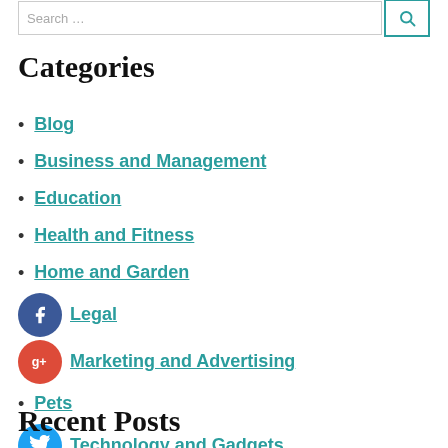Categories
Blog
Business and Management
Education
Health and Fitness
Home and Garden
Legal
Marketing and Advertising
Pets
Technology and Gadgets
Travel and Leisure
Recent Posts